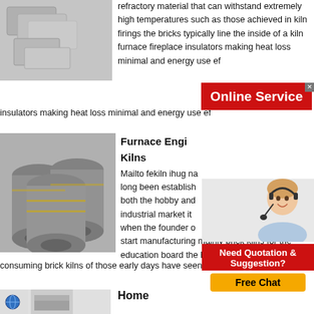[Figure (photo): Photo of light gray refractory bricks stacked]
refractory material that can withstand extremely high temperatures such as those achieved in kiln firings the bricks typically line the inside of a kiln furnace fireplace insulators making heat loss minimal and energy use ef...
[Figure (infographic): Online Service red advertisement banner with close button]
[Figure (photo): Photo of graphite cylindrical rolls/electrodes]
Furnace Engi... Kilns
Mailto fekiln ihug na long been establish both the hobby and industrial market it when the founder of start manufacturing mainly brick kilns for the education board the heavy and high power consuming brick kilns of those early days have seen major
[Figure (photo): Customer service consultant with headset, Need Quotation & Suggestion? Free Chat advertisement]
consuming brick kilns of those early days have seen major
Get Price
[Figure (photo): Small home section image with icon and brick]
Home